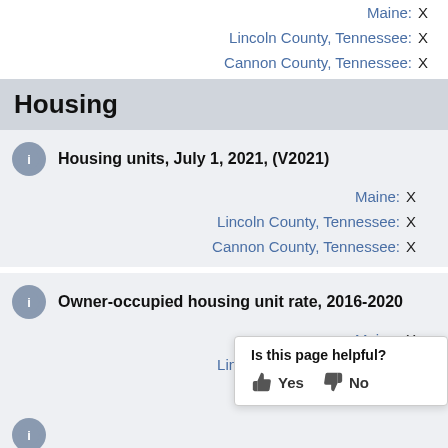Maine: X
Lincoln County, Tennessee: X
Cannon County, Tennessee: X
Housing
Housing units, July 1, 2021, (V2021)
Maine: X
Lincoln County, Tennessee: X
Cannon County, Tennessee: X
Owner-occupied housing unit rate, 2016-2020
Maine: X
Lincoln County, Tennessee: X
Cannon County, Tennessee: X